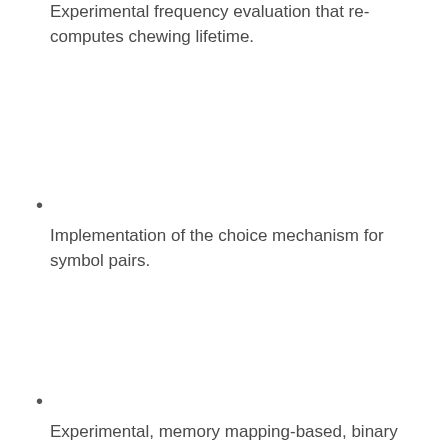Experimental frequency evaluation that re-computes chewing lifetime.
Implementation of the choice mechanism for symbol pairs.
Experimental, memory mapping-based, binary data handling to